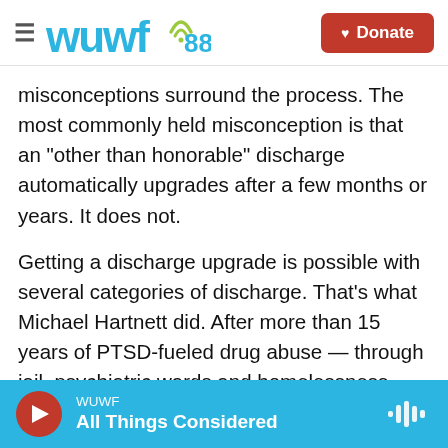[Figure (logo): WUWF 88.1 radio station logo with wifi icon and Donate button navigation bar]
misconceptions surround the process. The most commonly held misconception is that an "other than honorable" discharge automatically upgrades after a few months or years. It does not.
Getting a discharge upgrade is possible with several categories of discharge. That's what Michael Hartnett did. After more than 15 years of PTSD-fueled drug abuse — through jail, psychiatric wards and homelessness — a discharge review board granted clemency. The board concluded that evidence of PTSD should have been considered at his court-martial in 1993.
WUWF  All Things Considered